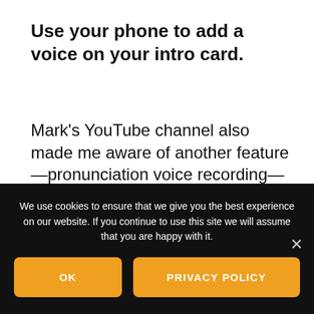Use your phone to add a voice on your intro card.
Mark's YouTube channel also made me aware of another feature—pronunciation voice recording—that is available only on a mobile device. A record icon appears next to your name when you edit your profile intro, and lets you record a 10-second sound bite. This feature does work here in the US, unlike
We use cookies to ensure that we give you the best experience on our website. If you continue to use this site we will assume that you are happy with it.
OK
PRIVACY POLICY